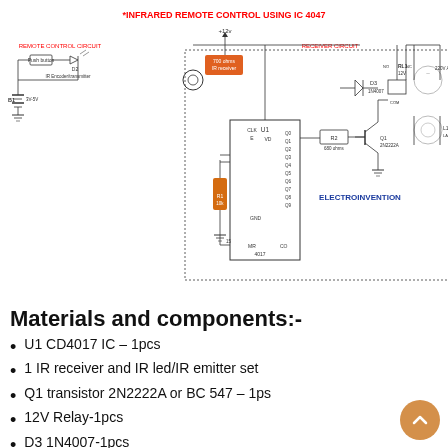[Figure (schematic): Circuit diagram titled 'INFRARED REMOTE CONTROL USING IC 4047' showing a remote control circuit on the left with push button, battery B1 (3V-5V), IR Encoder/transmitter D2, and a receiver circuit on the right with 700 ohm IR receiver, IC U1 (CD4017), resistor R1 10k, R2 680 ohms, transistor Q1 2N2222A, diode D3 1N4007, relay RL1 12V, and load L1 (LAMP/CPU/FAN) at 220V AC. Labeled ELECTROINVENTION.]
Materials and components:-
U1 CD4017 IC – 1pcs
1 IR receiver and IR led/IR emitter set
Q1 transistor 2N2222A or BC 547 – 1ps
12V Relay-1pcs
D3 1N4007-1pcs
R1 10K,
R2 680 Ohms-1K (1pcs)